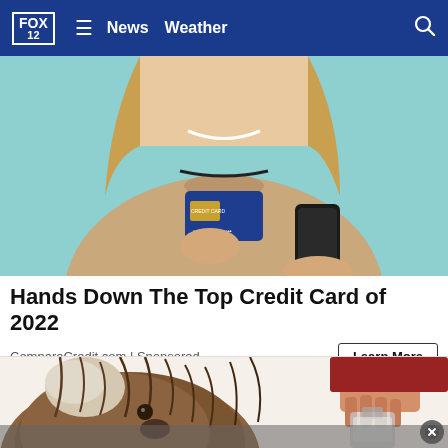FOX 12  ≡  News  Weather  🔍
[Figure (photo): Woman smiling, holding a blue credit card and a smartphone, light teal background]
Hands Down The Top Credit Card of 2022
CompareCredit.com | Sponsored
[Figure (illustration): Illustrated brown shaggy dog looking up, with a hand pouring liquid from a bottle in the background, illustration style]